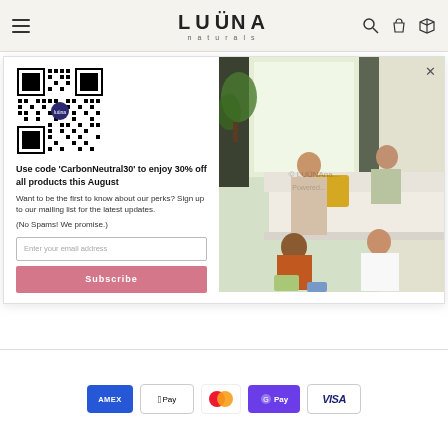LUÜNA naturals — header with navigation icons
[Figure (other): QR code for Luuna Naturals discount]
Use code 'CarbonNeutral30' to enjoy 30% off all products this August
Want to be the first to know about our perks? Sign up to our mailing list for the latest updates.
(No Spams! We promise.)
[Figure (photo): Four women sitting together on a couch and floor in a living room, laughing and socializing]
Payment methods: AMEX, Apple Pay, Mastercard, G Pay, VISA